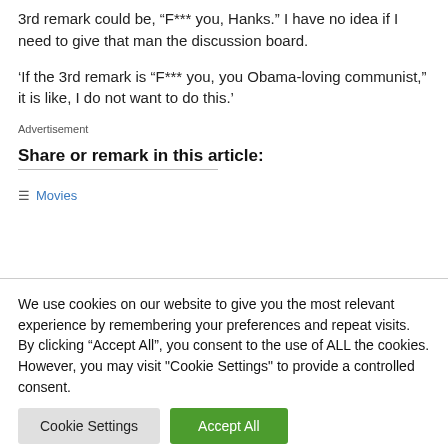3rd remark could be, “F*** you, Hanks.” I have no idea if I need to give that man the discussion board.
‘If the 3rd remark is “F*** you, you Obama-loving communist,” it is like, I do not want to do this.’
Advertisement
Share or remark in this article:
Movies
We use cookies on our website to give you the most relevant experience by remembering your preferences and repeat visits. By clicking “Accept All”, you consent to the use of ALL the cookies. However, you may visit "Cookie Settings" to provide a controlled consent.